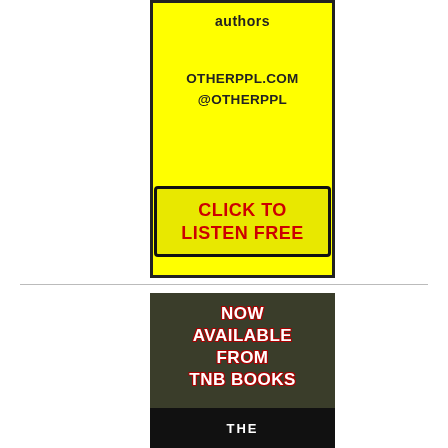[Figure (illustration): Yellow advertisement banner for OtherPpl podcast with text 'authors', 'OTHERPPL.COM', '@OTHERPPL', and a button 'CLICK TO LISTEN FREE']
[Figure (illustration): Dark green/black advertisement banner for TNB Books with text 'NOW AVAILABLE FROM TNB BOOKS' and a partial book cover showing 'THE']